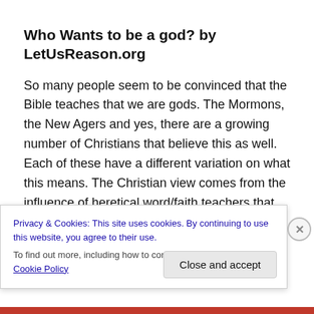Who Wants to be a god? by LetUsReason.org
So many people seem to be convinced that the Bible teaches that we are gods. The Mormons, the New Agers and yes, there are a growing number of Christians that believe this as well. Each of these have a different variation on what this means. The Christian view comes from the influence of heretical word/faith teachers that
Privacy & Cookies: This site uses cookies. By continuing to use this website, you agree to their use.
To find out more, including how to control cookies, see here: Cookie Policy
Close and accept